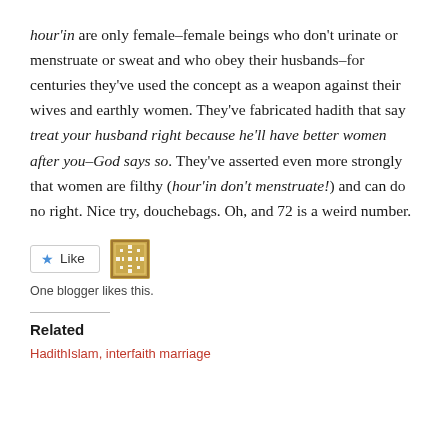hour'in are only female–female beings who don't urinate or menstruate or sweat and who obey their husbands–for centuries they've used the concept as a weapon against their wives and earthly women. They've fabricated hadith that say treat your husband right because he'll have better women after you–God says so. They've asserted even more strongly that women are filthy (hour'in don't menstruate!) and can do no right. Nice try, douchebags. Oh, and 72 is a weird number.
[Figure (other): Like button and blogger avatar icon]
One blogger likes this.
Related
Hadith
Islam, interfaith marriage